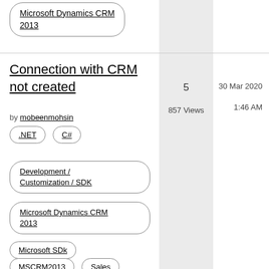Microsoft Dynamics CRM 2013
Connection with CRM not created
by mobeenmohsin
5
857 Views
30 Mar 2020
1:46 AM
.NET
C#
Development / Customization / SDK
Microsoft Dynamics CRM 2013
Microsoft SDk
MSCRM2013
Sales